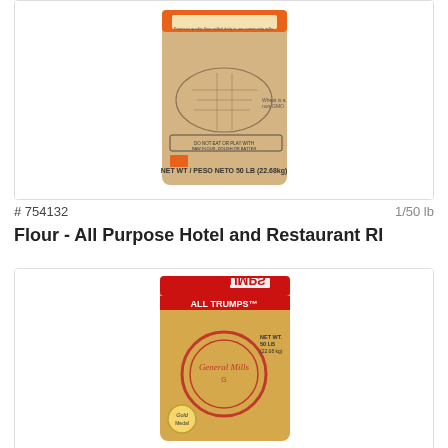[Figure (photo): A 50 lb bag of All Purpose Hotel and Restaurant flour with a US map on the back, showing NET WT / PESO NETO 50 LB (22.68kg)]
# 754132    1/50 lb
Flour - All Purpose Hotel and Restaurant RI
[Figure (photo): A 50 lb bag of All Trumps flour by General Mills with NET WT. 50 LB (22.68 kg) label and Gold Medal branding, shown upside down]